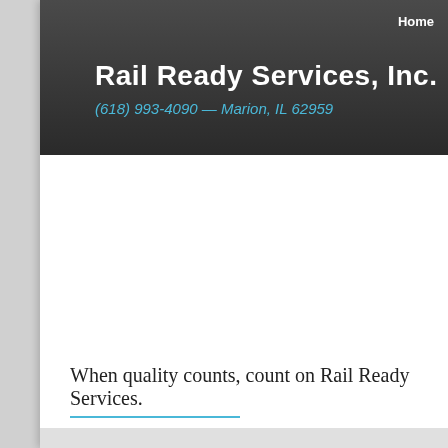Home
Rail Ready Services, Inc.
(618) 993-4090 — Marion, IL 62959
When quality counts, count on Rail Ready Services.